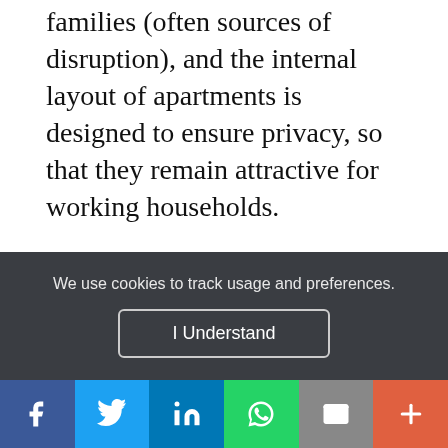families (often sources of disruption), and the internal layout of apartments is designed to ensure privacy, so that they remain attractive for working households.
In order to select its tenants, collect rent and maintain its housing stock, NYCHA has a staff of over 11,000. To avoid any possible accusations of clientelism or nepotism, it recruits its employees by competitive
We use cookies to track usage and preferences.
[Figure (other): Cookie consent banner with 'I Understand' button on dark background]
Social sharing bar: Facebook, Twitter, LinkedIn, WhatsApp, Email, More